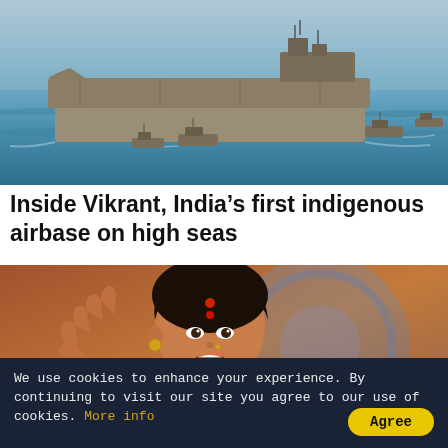[Figure (photo): Aerial photograph of INS Vikrant, India's first indigenous aircraft carrier, sailing on the sea with small escort vessels visible alongside]
Inside Vikrant, India’s first indigenous airbase on high seas
[Figure (photo): Close-up photograph of a woman wearing a green and saffron BJP scarf, with a bindi, speaking with her right hand raised]
We use cookies to enhance your experience. By continuing to visit our site you agree to our use of cookies. More info